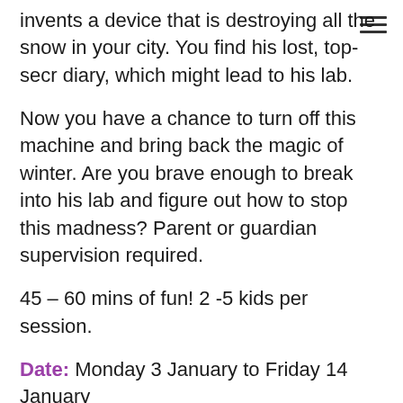invents a device that is destroying all the snow in your city. You find his lost, top-secr diary, which might lead to his lab.
Now you have a chance to turn off this machine and bring back the magic of winter. Are you brave enough to break into his lab and figure out how to stop this madness? Parent or guardian supervision required.
45 – 60 mins of fun! 2 -5 kids per session.
Date: Monday 3 January to Friday 14 January
Time: Various Times
Cost: Free, bookings essential